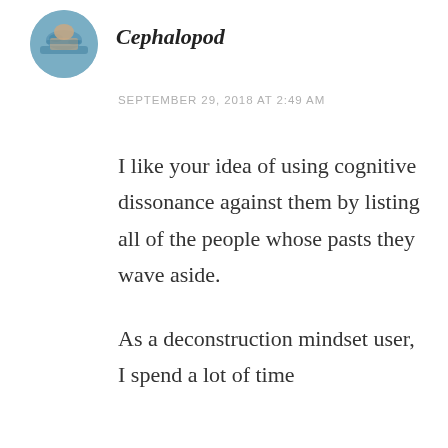[Figure (photo): Circular avatar photo of a person swimming or in water, blue tones]
Cephalopod
SEPTEMBER 29, 2018 AT 2:49 AM
I like your idea of using cognitive dissonance against them by listing all of the people whose pasts they wave aside.
As a deconstruction mindset user, I spend a lot of time